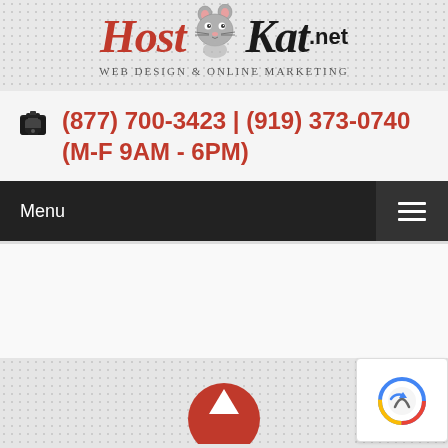[Figure (logo): HostKat.net logo with cartoon rat mascot, Web Design & Online Marketing tagline]
(877) 700-3423 | (919) 373-0740 (M-F 9AM - 6PM)
Menu
[Figure (other): Red circular icon partially visible at the bottom of the page]
[Figure (other): Google reCAPTCHA badge at bottom right corner]